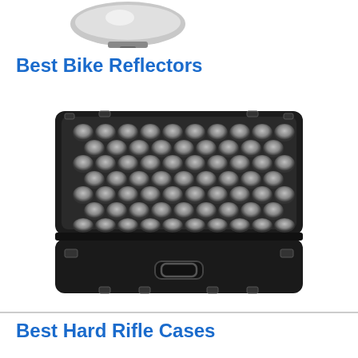[Figure (photo): Partial image of a bike reflector product, cropped at top of page]
Best Bike Reflectors
[Figure (photo): Open hard rifle case (black) showing egg-crate foam interior lining, with carry handle visible at bottom]
Best Hard Rifle Cases